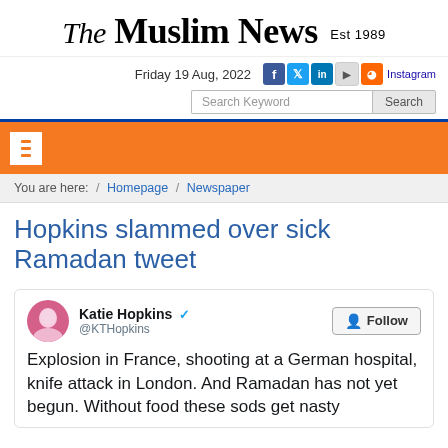The Muslim News Est 1989
Friday 19 Aug, 2022
[Figure (screenshot): Search bar with Search Keyword input and Search button]
[Figure (screenshot): Orange navigation bar with hamburger menu icon]
You are here: / Homepage / Newspaper
Hopkins slammed over sick Ramadan tweet
[Figure (screenshot): Tweet from Katie Hopkins @KTHopkins with Follow button. Tweet text: Explosion in France, shooting at a German hospital, knife attack in London. And Ramadan has not yet begun. Without food these sods get nasty]